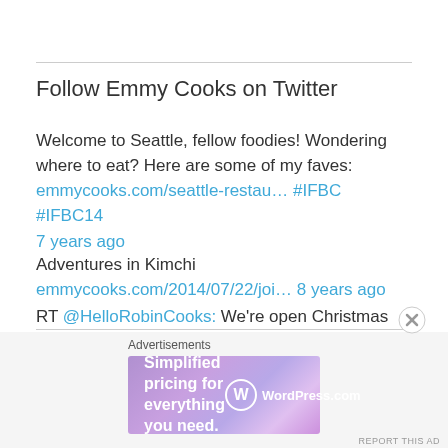Follow Emmy Cooks on Twitter
Welcome to Seattle, fellow foodies! Wondering where to eat? Here are some of my faves: emmycooks.com/seattle-restau… #IFBC #IFBC14 7 years ago
Adventures in Kimchi emmycooks.com/2014/07/22/joi… 8 years ago
RT @HelloRobinCooks: We're open Christmas Day 10 to 2 with cinnamon rolls and, of course, lots and lots of cookies. http://t.co/jemN3RzxhJ 8 years ago
Follow @emmycooks
Advertisements
[Figure (screenshot): WordPress.com advertisement banner: 'Simplified pricing for everything you need.']